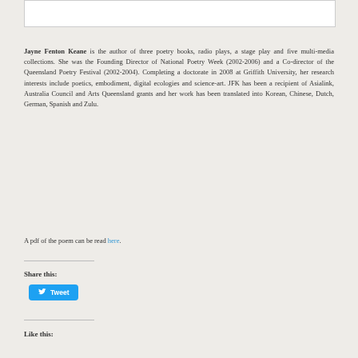[Figure (other): White rectangular box at top of page]
Jayne Fenton Keane is the author of three poetry books, radio plays, a stage play and five multi-media collections. She was the Founding Director of National Poetry Week (2002-2006) and a Co-director of the Queensland Poetry Festival (2002-2004). Completing a doctorate in 2008 at Griffith University, her research interests include poetics, embodiment, digital ecologies and science-art. JFK has been a recipient of Asialink, Australia Council and Arts Queensland grants and her work has been translated into Korean, Chinese, Dutch, German, Spanish and Zulu.
A pdf of the poem can be read here.
Share this:
[Figure (other): Twitter Tweet button]
Like this: